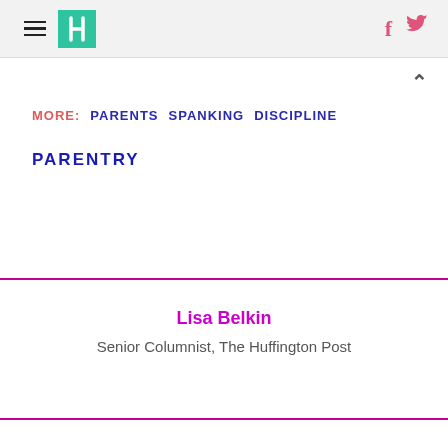HuffPost — hamburger menu, logo, Facebook and Twitter icons
MORE:  PARENTS  SPANKING  DISCIPLINE
PARENTRY
Lisa Belkin
Senior Columnist, The Huffington Post